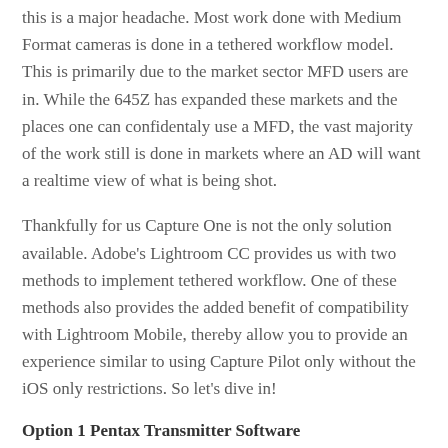this is a major headache. Most work done with Medium Format cameras is done in a tethered workflow model. This is primarily due to the market sector MFD users are in. While the 645Z has expanded these markets and the places one can confidentaly use a MFD, the vast majority of the work still is done in markets where an AD will want a realtime view of what is being shot.
Thankfully for us Capture One is not the only solution available. Adobe's Lightroom CC provides us with two methods to implement tethered workflow. One of these methods also provides the added benefit of compatibility with Lightroom Mobile, thereby allow you to provide an experience similar to using Capture Pilot only without the iOS only restrictions. So let's dive in!
Option 1 Pentax Transmitter Software